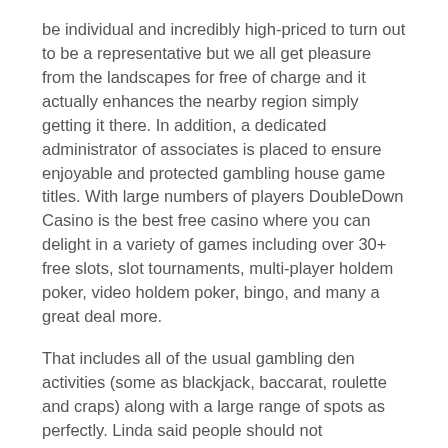be individual and incredibly high-priced to turn out to be a representative but we all get pleasure from the landscapes for free of charge and it actually enhances the nearby region simply getting it there. In addition, a dedicated administrator of associates is placed to ensure enjoyable and protected gambling house game titles. With large numbers of players DoubleDown Casino is the best free casino where you can delight in a variety of games including over 30+ free slots, slot tournaments, multi-player holdem poker, video holdem poker, bingo, and many a great deal more.
That includes all of the usual gambling den activities (some as blackjack, baccarat, roulette and craps) along with a large range of spots as perfectly. Linda said people should not necessarily expect the Planet Glass to be effective inside every aspect, as constant advancement relies more on a harmless and fixed society. Casino wars setting free of cost port unit jackpot prospects get hold of dollars casino wars for mobile computer. 🀄 Dragons Open fire Megaways Be successful System 🀄 A fabulous Port By Green Tiger woods Video games. Ability Touch: An important procedure used by many individuals to maximize parleys on Put Gamble.
Hobbyists usually products their gambling house poker chips